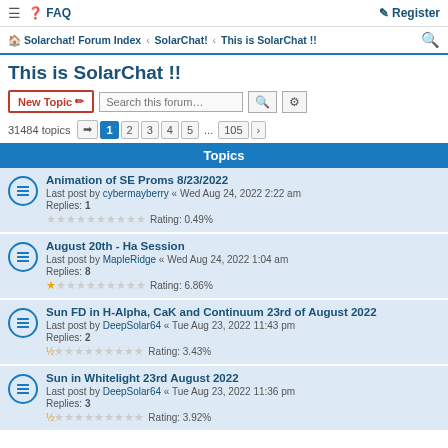≡ ❓ FAQ | Register
Solarchat! Forum Index › SolarChat! › This is SolarChat !!
This is SolarChat !!
New Topic | Search this forum…
31484 topics | 1 2 3 4 5 ... 105 →
Topics
Animation of SE Proms 8/23/2022
Last post by cybermayberry « Wed Aug 24, 2022 2:22 am
Replies: 1
Rating: 0.49%
August 20th - Ha Session
Last post by MapleRidge « Wed Aug 24, 2022 1:04 am
Replies: 8
Rating: 6.86%
Sun FD in H-Alpha, CaK and Continuum 23rd of August 2022
Last post by DeepSolar64 « Tue Aug 23, 2022 11:43 pm
Replies: 2
Rating: 3.43%
Sun in Whitelight 23rd August 2022
Last post by DeepSolar64 « Tue Aug 23, 2022 11:36 pm
Replies: 3
Rating: 3.92%